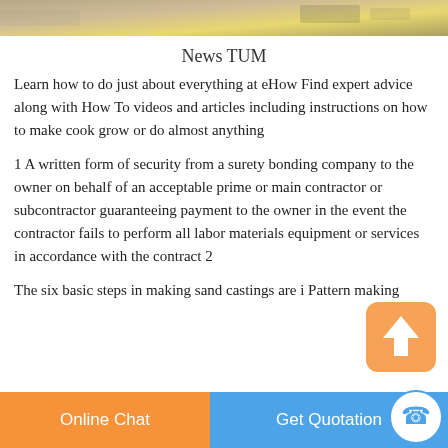[Figure (photo): Partial image at top of page showing construction or craft materials]
News TUM
Learn how to do just about everything at eHow Find expert advice along with How To videos and articles including instructions on how to make cook grow or do almost anything
1 A written form of security from a surety bonding company to the owner on behalf of an acceptable prime or main contractor or subcontractor guaranteeing payment to the owner in the event the contractor fails to perform all labor materials equipment or services in accordance with the contract 2
The six basic steps in making sand castings are i Pattern making
[Figure (infographic): Upload/share icon — orange square with rounded corners containing an upward arrow]
Online Chat   Get Quotation